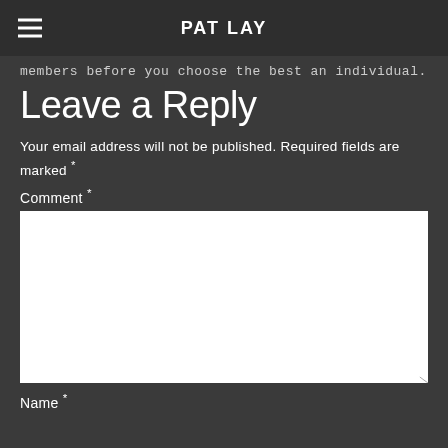PAT LAY
members before you choose the best an individual.
Leave a Reply
Your email address will not be published. Required fields are marked *
Comment *
Name *